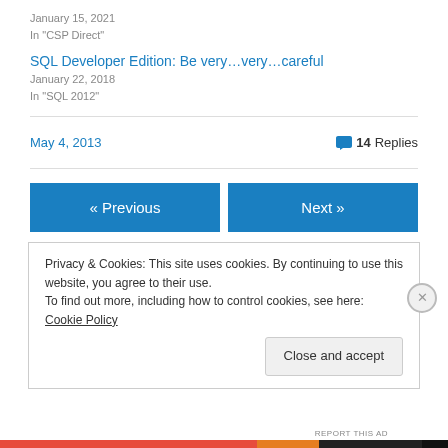January 15, 2021
In "CSP Direct"
SQL Developer Edition: Be very…very…careful
January 22, 2018
In "SQL 2012"
May 4, 2013
14 Replies
« Previous
Next »
Privacy & Cookies: This site uses cookies. By continuing to use this website, you agree to their use.
To find out more, including how to control cookies, see here: Cookie Policy
Close and accept